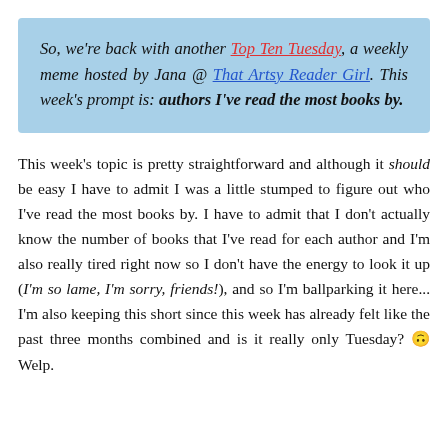So, we're back with another Top Ten Tuesday, a weekly meme hosted by Jana @ That Artsy Reader Girl. This week's prompt is: authors I've read the most books by.
This week's topic is pretty straightforward and although it should be easy I have to admit I was a little stumped to figure out who I've read the most books by. I have to admit that I don't actually know the number of books that I've read for each author and I'm also really tired right now so I don't have the energy to look it up (I'm so lame, I'm sorry, friends!), and so I'm ballparking it here... I'm also keeping this short since this week has already felt like the past three months combined and is it really only Tuesday? 🙃 Welp.